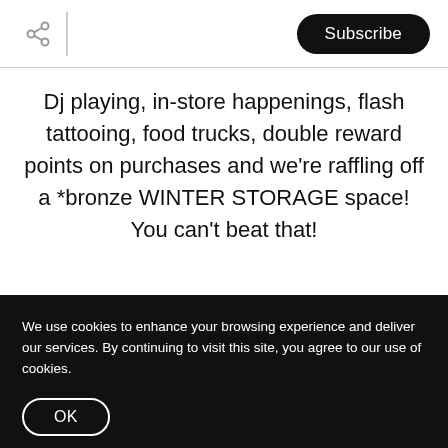Subscribe
Dj playing, in-store happenings, flash tattooing, food trucks, double reward points on purchases and we're raffling off a *bronze WINTER STORAGE space! You can't beat that!
We use cookies to enhance your browsing experience and deliver our services. By continuing to visit this site, you agree to our use of cookies.
OK